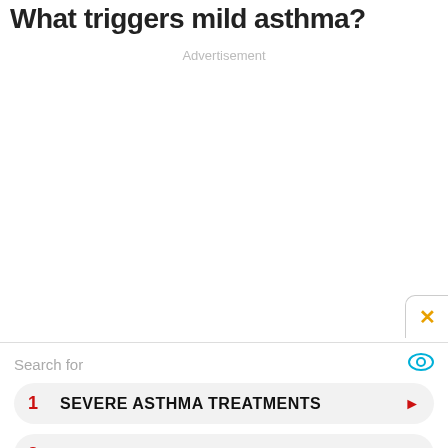What triggers mild asthma?
Advertisement
Search for
1 SEVERE ASTHMA TREATMENTS
2 ASTHMA ATTACK SIGNS
Ad | Business Focus